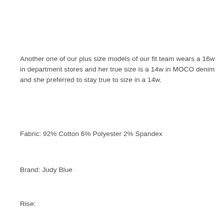Another one of our plus size models of our fit team wears a 16w in department stores and her true size is a 14w in MOCO denim and she preferred to stay true to size in a 14w.
Fabric: 92% Cotton 6% Polyester 2% Spandex
Brand: Judy Blue
Rise: